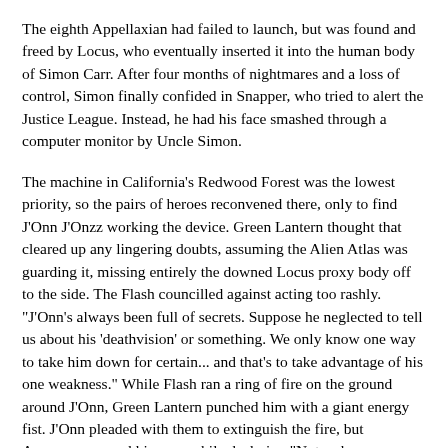The eighth Appellaxian had failed to launch, but was found and freed by Locus, who eventually inserted it into the human body of Simon Carr. After four months of nightmares and a loss of control, Simon finally confided in Snapper, who tried to alert the Justice League. Instead, he had his face smashed through a computer monitor by Uncle Simon.
The machine in California's Redwood Forest was the lowest priority, so the pairs of heroes reconvened there, only to find J'Onn J'Onzz working the device. Green Lantern thought that cleared up any lingering doubts, assuming the Alien Atlas was guarding it, missing entirely the downed Locus proxy body off to the side. The Flash councilled against acting too rashly. "J'Onn's always been full of secrets. Suppose he neglected to tell us about his 'deathvision' or something. We only know one way to take him down for certain... and that's to take advantage of his one weakness." While Flash ran a ring of fire on the ground around J'Onn, Green Lantern punched him with a giant energy fist. J'Onn pleaded with them to extinguish the fire, but Aquaman popped him one while declaring "Not a chance, traitor!" Then the enormous